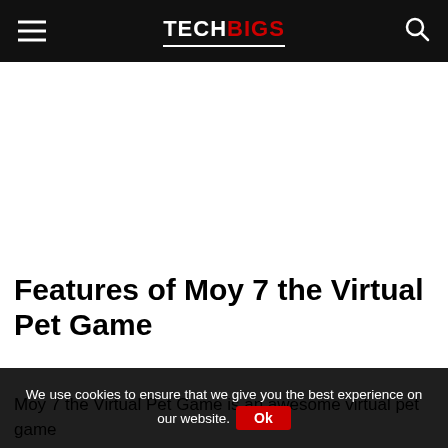TECHBIGS
Features of Moy 7 the Virtual Pet Game
Moy 7 the Virtual Pet Game is an awesome virtual pet game
We use cookies to ensure that we give you the best experience on our website. Ok